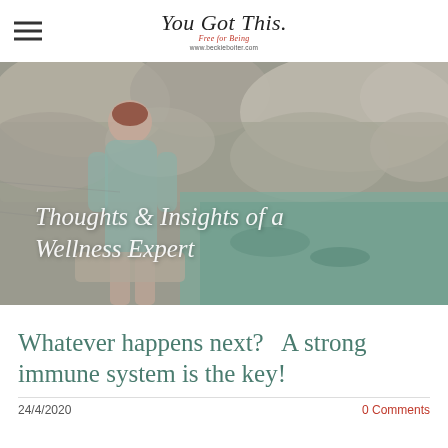You Got This. Free for Being www.beckieboiter.com
[Figure (photo): Woman with reddish hair sitting on rocks by a natural pool, wearing a grey/teal sleeveless dress. Rocky landscape background. Overlay text: Thoughts & Insights of a Wellness Expert]
Whatever happens next?   A strong immune system is the key!
24/4/2020
0 Comments